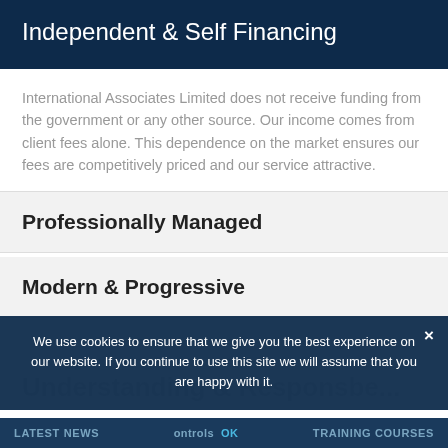Independent & Self Financing
International Associates Limited does not receive funding from the government or any other source. Our income comes from client fees alone. This dependence on the market ensures our fees are competitively priced and our service attractive.
Professionally Managed
Modern & Progressive
We use cookies to ensure that we give you the best experience on our website. If you continue to use this site we will assume that you are happy with it.
LATEST NEWS | ontrols | OK | TRAINING COURSES